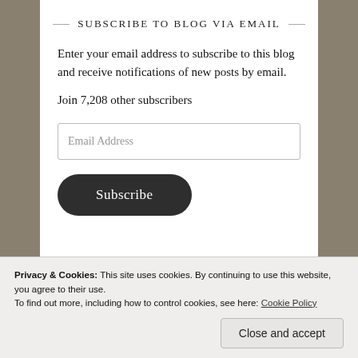SUBSCRIBE TO BLOG VIA EMAIL
Enter your email address to subscribe to this blog and receive notifications of new posts by email.
Join 7,208 other subscribers
Email Address
Subscribe
Privacy & Cookies: This site uses cookies. By continuing to use this website, you agree to their use.
To find out more, including how to control cookies, see here: Cookie Policy
Close and accept